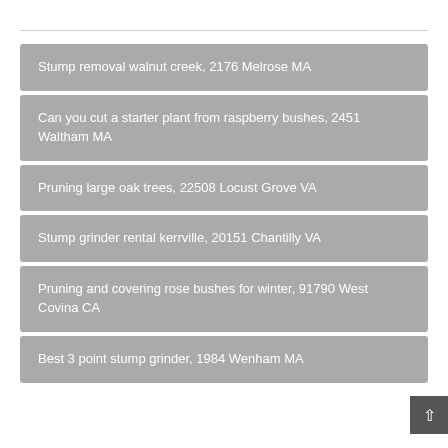Stump removal walnut creek, 2176 Melrose MA
Can you cut a starter plant from raspberry bushes, 2451 Waltham MA
Pruning large oak trees, 22508 Locust Grove VA
Stump grinder rental kerrville, 20151 Chantilly VA
Pruning and covering rose bushes for winter, 91790 West Covina CA
Best 3 point stump grinder, 1984 Wenham MA